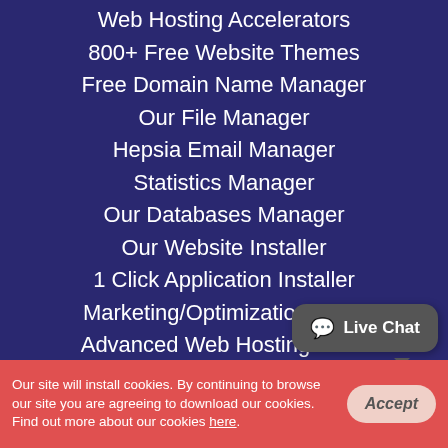Web Hosting Accelerators
800+ Free Website Themes
Free Domain Name Manager
Our File Manager
Hepsia Email Manager
Statistics Manager
Our Databases Manager
Our Website Installer
1 Click Application Installer
Marketing/Optimization Tools
Advanced Web Hosting Tools
Support
Support
Shared Hosting Support
VPS Hosting Support
Semi-dedicated Hosting Support
Our site will install cookies. By continuing to browse our site you are agreeing to download our cookies. Find out more about our cookies here.